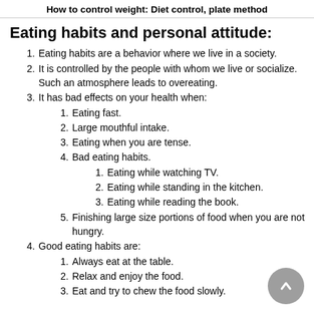How to control weight: Diet control, plate method
Eating habits and personal attitude:
Eating habits are a behavior where we live in a society.
It is controlled by the people with whom we live or socialize. Such an atmosphere leads to overeating.
It has bad effects on your health when:
Eating fast.
Large mouthful intake.
Eating when you are tense.
Bad eating habits.
Eating while watching TV.
Eating while standing in the kitchen.
Eating while reading the book.
Finishing large size portions of food when you are not hungry.
Good eating habits are:
Always eat at the table.
Relax and enjoy the food.
Eat and try to chew the food slowly.